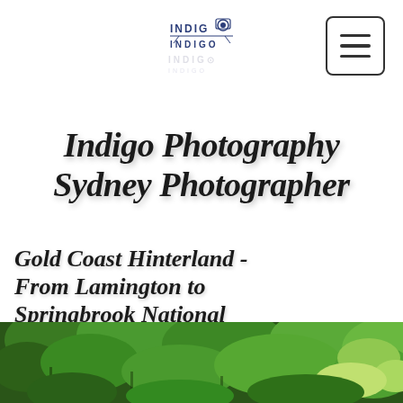[Figure (logo): Indigo Photography logo with text INDIGO and camera graphic, with a faded reflection below]
[Figure (other): Hamburger menu icon — three horizontal lines inside a rounded rectangle border]
Indigo Photography Sydney Photographer
Gold Coast Hinterland - From Lamington to Springbrook National Park's
[Figure (photo): Lush green rainforest vegetation, dense trees and foliage, partially visible at the bottom of the page]